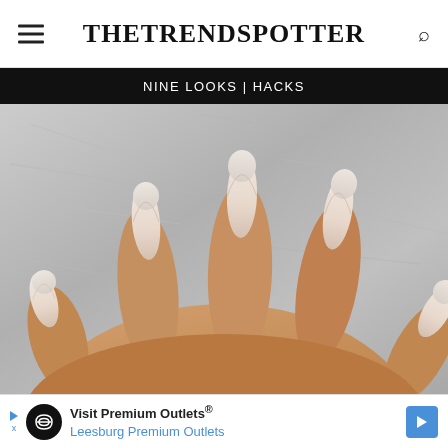TheTrendSpotter
Nine Looks | Hacks
[Figure (photo): Close-up photo of a hand with long almond-shaped nails featuring a natural/nude French tip manicure against a gray stone background]
Visit Premium Outlets® Leesburg Premium Outlets